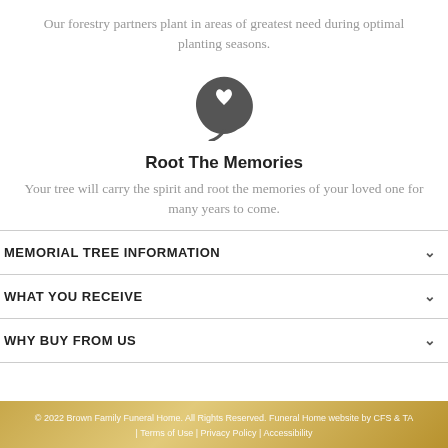Our forestry partners plant in areas of greatest need during optimal planting seasons.
[Figure (illustration): A dark grey leaf icon with a heart shape cut out in the center]
Root The Memories
Your tree will carry the spirit and root the memories of your loved one for many years to come.
MEMORIAL TREE INFORMATION
WHAT YOU RECEIVE
WHY BUY FROM US
© 2022 Brown Family Funeral Home. All Rights Reserved. Funeral Home website by CFS & TA | Terms of Use | Privacy Policy | Accessibility